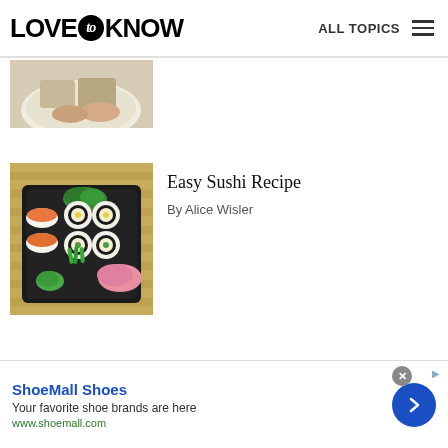LOVE to KNOW   ALL TOPICS
[Figure (photo): Partial view of food on a plate, top portion only visible]
[Figure (photo): Sushi platter with salmon nigiri, maki rolls, and garnishes on a bamboo mat]
Easy Sushi Recipe
By Alice Wisler
ShoeMall Shoes
Your favorite shoe brands are here
www.shoemall.com